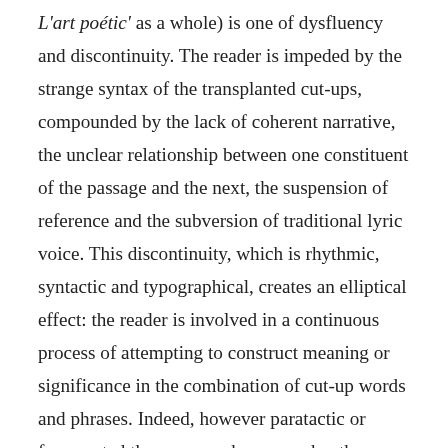L'art poétic' as a whole) is one of dysfluency and discontinuity. The reader is impeded by the strange syntax of the transplanted cut-ups, compounded by the lack of coherent narrative, the unclear relationship between one constituent of the passage and the next, the suspension of reference and the subversion of traditional lyric voice. This discontinuity, which is rhythmic, syntactic and typographical, creates an elliptical effect: the reader is involved in a continuous process of attempting to construct meaning or significance in the combination of cut-up words and phrases. Indeed, however paratactic or fragmented the passage above may be, the reader can decipher the bare bones of a narrative: a journey, a voyage at sea, a sudden explosion, or you read characters reflects